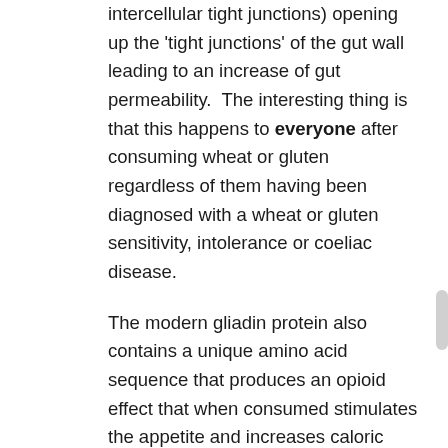intercellular tight junctions) opening up the 'tight junctions' of the gut wall leading to an increase of gut permeability.  The interesting thing is that this happens to everyone after consuming wheat or gluten regardless of them having been diagnosed with a wheat or gluten sensitivity, intolerance or coeliac disease.
The modern gliadin protein also contains a unique amino acid sequence that produces an opioid effect that when consumed stimulates the appetite and increases caloric intake.
What are the negative symptoms of eating wheat if